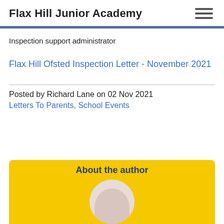Flax Hill Junior Academy
Inspection support administrator
Flax Hill Ofsted Inspection Letter - November 2021
Posted by Richard Lane on 02 Nov 2021
Letters To Parents, School Events
[Figure (illustration): Yellow author box with heading 'About the author' and a circular avatar placeholder (person silhouette/egg shape) below it]